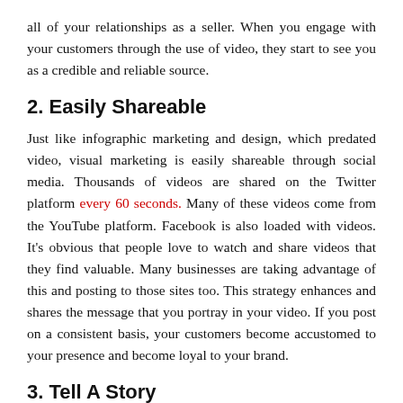all of your relationships as a seller. When you engage with your customers through the use of video, they start to see you as a credible and reliable source.
2. Easily Shareable
Just like infographic marketing and design, which predated video, visual marketing is easily shareable through social media. Thousands of videos are shared on the Twitter platform every 60 seconds. Many of these videos come from the YouTube platform. Facebook is also loaded with videos. It's obvious that people love to watch and share videos that they find valuable. Many businesses are taking advantage of this and posting to those sites too. This strategy enhances and shares the message that you portray in your video. If you post on a consistent basis, your customers become accustomed to your presence and become loyal to your brand.
3. Tell A Story